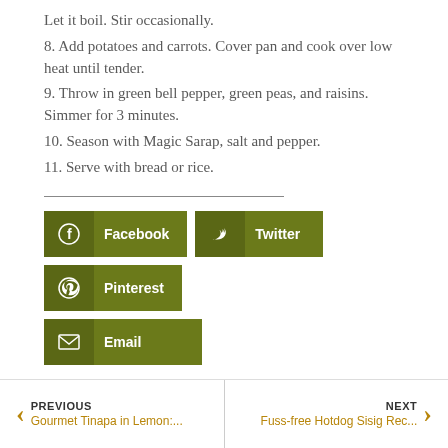Let it boil. Stir occasionally.
8. Add potatoes and carrots. Cover pan and cook over low heat until tender.
9. Throw in green bell pepper, green peas, and raisins. Simmer for 3 minutes.
10. Season with Magic Sarap, salt and pepper.
11. Serve with bread or rice.
[Figure (other): Social share buttons for Facebook, Twitter, Pinterest, and Email with olive green background]
PREVIOUS Gourmet Tinapa in Lemon:... | NEXT Fuss-free Hotdog Sisig Rec...